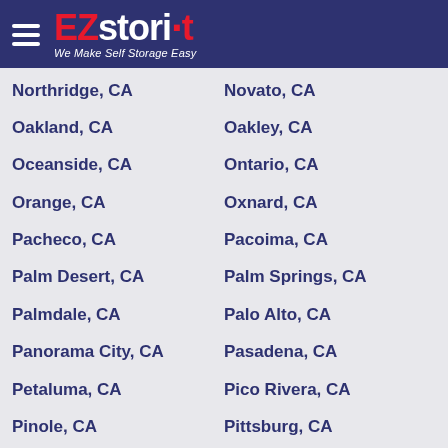EZstorit - We Make Self Storage Easy
Northridge, CA
Novato, CA
Oakland, CA
Oakley, CA
Oceanside, CA
Ontario, CA
Orange, CA
Oxnard, CA
Pacheco, CA
Pacoima, CA
Palm Desert, CA
Palm Springs, CA
Palmdale, CA
Palo Alto, CA
Panorama City, CA
Pasadena, CA
Petaluma, CA
Pico Rivera, CA
Pinole, CA
Pittsburg, CA
Pleasant Hill, CA
Pleasanton, CA
Point Richmond, CA
Pomona, CA
Rancho Cordova, CA
Rancho Cucamonga, CA
Rancho Mirage, CA
Redlands, CA